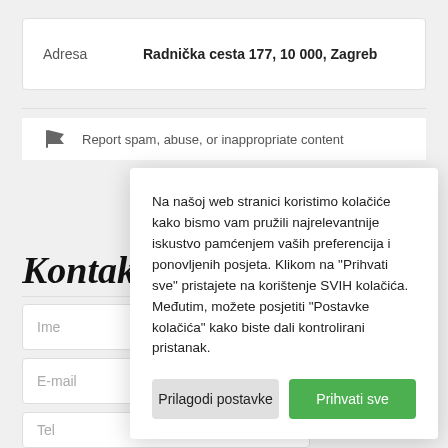|  |  |
| --- | --- |
| Adresa | Radnička cesta 177, 10 000, Zagreb |
Report spam, abuse, or inappropriate content
Kontakti
Ime
E-mail
Tel
Na našoj web stranici koristimo kolačiće kako bismo vam pružili najrelevantnije iskustvo pamćenjem vaših preferencija i ponovljenih posjeta. Klikom na "Prihvati sve" pristajete na korištenje SVIH kolačića. Međutim, možete posjetiti "Postavke kolačića" kako biste dali kontrolirani pristanak.
Prilagodi postavke
Prihvati sve